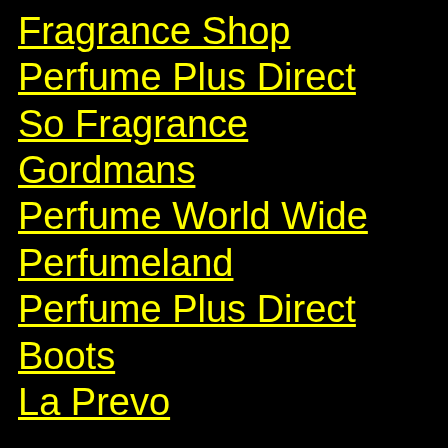Fragrance Shop
Perfume Plus Direct
So Fragrance
Gordmans
Perfume World Wide
Perfumeland
Perfume Plus Direct
Boots
La Prevo